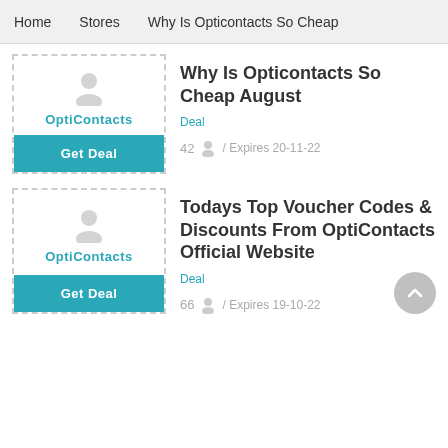Home   Stores   Why Is Opticontacts So Cheap
Why Is Opticontacts So Cheap August
Deal
42 / Expires 20-11-22
Todays Top Voucher Codes & Discounts From OptiContacts Official Website
Deal
66 / Expires 19-10-22